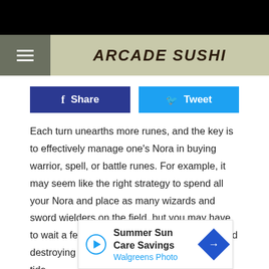ARCADE SUSHI
[Figure (other): Facebook Share button and Twitter Tweet button]
Each turn unearths more runes, and the key is to effectively manage one's Nora in buying warrior, spell, or battle runes. For example, it may seem like the right strategy to spend all your Nora and place as many wizards and sword wielders on the field, but you may have to wait a few turns before purchasing that world destroying spell or weapon that could turn the tide.

During my first hours of gameplay, Pox Nora's strategic intricacies, absoluting a
[Figure (other): Advertisement overlay: Summer Sun Care Savings - Walgreens Photo, with play button and navigation arrow]